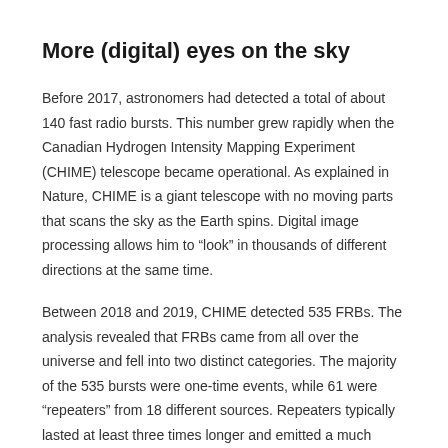More (digital) eyes on the sky
Before 2017, astronomers had detected a total of about 140 fast radio bursts. This number grew rapidly when the Canadian Hydrogen Intensity Mapping Experiment (CHIME) telescope became operational. As explained in Nature, CHIME is a giant telescope with no moving parts that scans the sky as the Earth spins. Digital image processing allows him to “look” in thousands of different directions at the same time.
Between 2018 and 2019, CHIME detected 535 FRBs. The analysis revealed that FRBs came from all over the universe and fell into two distinct categories. The majority of the 535 bursts were one-time events, while 61 were “repeaters” from 18 different sources. Repeaters typically lasted at least three times longer and emitted a much narrower band of radio frequencies.